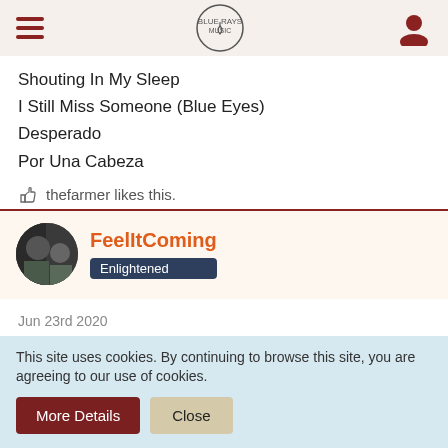Navigation header with hamburger menu, site logo, and user icon
Shouting In My Sleep
I Still Miss Someone (Blue Eyes)
Desperado
Por Una Cabeza
thefarmer likes this.
FeelItComing — Enlightened
Jun 23rd 2020
Desperado? The Eagles song? And I love Walking In Memphis.
This site uses cookies. By continuing to browse this site, you are agreeing to our use of cookies.